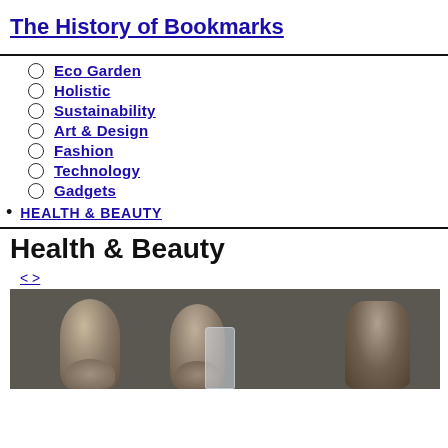The History of Bookmarks
Eco Garden
Holistic
Sustainability
Art & Design
Fashion
Technology
Gadgets
HEALTH & BEAUTY
Health & Beauty
<>
[Figure (photo): Stone objects and a glass container arranged on a dark background, likely beauty/wellness products made of stone/ceramic.]